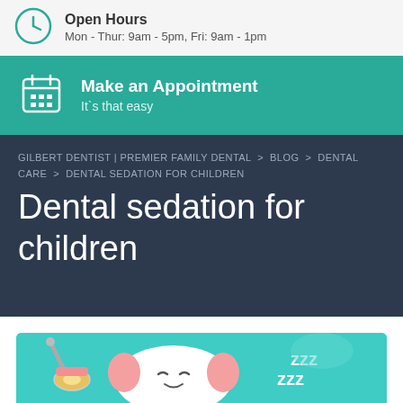Open Hours
Mon - Thur: 9am - 5pm, Fri: 9am - 1pm
Make an Appointment
It`s that easy
GILBERT DENTIST | PREMIER FAMILY DENTAL  >  BLOG  >  DENTAL CARE  >  DENTAL SEDATION FOR CHILDREN
Dental sedation for children
[Figure (illustration): Cartoon illustration of a sleeping tooth character with dental lamp and ZZZ symbols on a teal background]